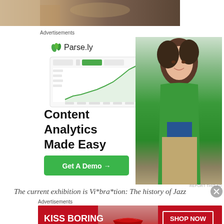[Figure (photo): Partial photo at top of page showing what appears to be a room interior with furniture]
Advertisements
[Figure (screenshot): Parse.ly advertisement featuring logo, content analytics dashboard screenshot, woman in green shirt, and text 'Content Analytics Made Easy' with 'Get A Demo →' green button]
REPORT THIS AD
The current exhibition is Vi*bra*tion: The history of Jazz
Advertisements
[Figure (photo): Macy's advertisement: red background with woman's lips, text 'KISS BORING LIPS GOODBYE', 'SHOP NOW' button, and Macy's star logo]